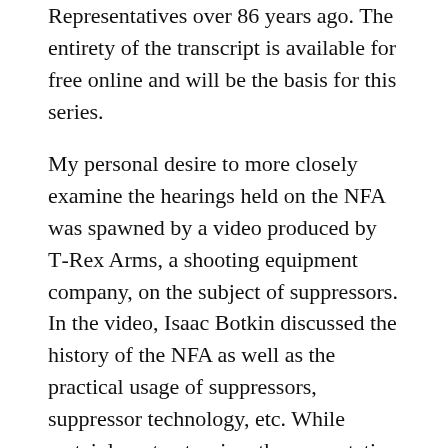Representatives over 86 years ago. The entirety of the transcript is available for free online and will be the basis for this series.
My personal desire to more closely examine the hearings held on the NFA was spawned by a video produced by T-Rex Arms, a shooting equipment company, on the subject of suppressors. In the video, Isaac Botkin discussed the history of the NFA as well as the practical usage of suppressors, suppressor technology, etc. While certainly not extensive, the presentation was a jumping-off point to begin research on the subject. On the first page of search results for “NFA hearings” was a 2004 article by keepandbeararms.com on the